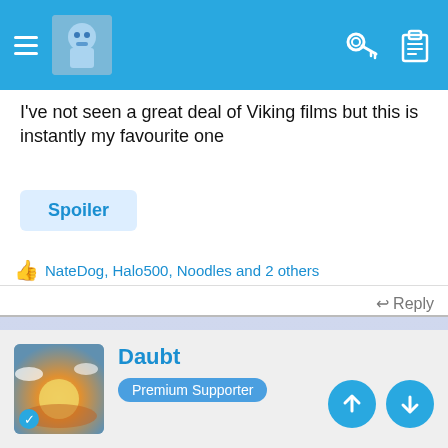Navigation bar with menu, avatar, key icon, clipboard icon
I've not seen a great deal of Viking films but this is instantly my favourite one
Spoiler
NateDog, Halo500, Noodles and 2 others
Reply
[Figure (other): Light blue/lavender advertisement or blank area]
Daubt
Premium Supporter